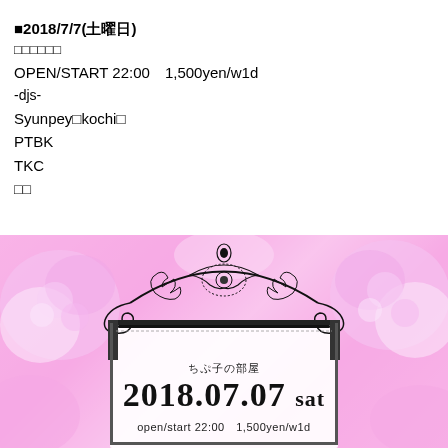■2018/7/7(土曜日)
□□□□□□
OPEN/START 22:00  1,500yen/w1d
-djs-
Syunpey□kochi□
PTBK
TKC
□□
[Figure (illustration): Event flyer for ちぷ子の部屋 (Chipuko no Heya) on 2018.07.07 sat, open/start 22:00 1,500yen/w1d. Pink floral background with ornate black decorative frame/arch at top, Japanese text and date displayed inside frame.]